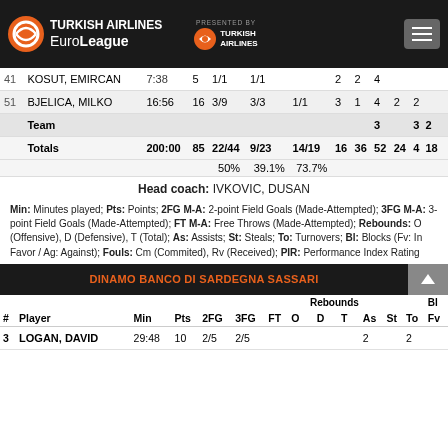TURKISH AIRLINES EuroLeague - PRESENTED BY TURKISH AIRLINES
| # | Player | Min | Pts | 2FG | 3FG | FT | O | D | T | As | St | To | Fv |
| --- | --- | --- | --- | --- | --- | --- | --- | --- | --- | --- | --- | --- | --- |
| 41 | KOSUT, EMIRCAN | 7:38 | 5 | 1/1 | 1/1 |  | 2 | 2 | 4 |  |  |  |  |
| 51 | BJELICA, MILKO | 16:56 | 16 | 3/9 | 3/3 | 1/1 | 3 | 1 | 4 | 2 | 2 |  |  |
|  | Team |  |  |  |  |  |  |  |  | 3 |  | 3 | 2 |
|  | Totals | 200:00 | 85 | 22/44 | 9/23 | 14/19 | 16 | 36 | 52 | 24 | 4 | 18 |  |
|  |  |  |  | 50% | 39.1% | 73.7% |  |  |  |  |  |  |  |
Head coach: IVKOVIC, DUSAN
Min: Minutes played; Pts: Points; 2FG M-A: 2-point Field Goals (Made-Attempted); 3FG M-A: 3-point Field Goals (Made-Attempted); FT M-A: Free Throws (Made-Attempted); Rebounds: O (Offensive), D (Defensive), T (Total); As: Assists; St: Steals; To: Turnovers; Bl: Blocks (Fv: In Favor / Ag: Against); Fouls: Cm (Commited), Rv (Received); PIR: Performance Index Rating
DINAMO BANCO DI SARDEGNA SASSARI
| # | Player | Min | Pts | 2FG | 3FG | FT | O | D | T | As | St | To | Fv |
| --- | --- | --- | --- | --- | --- | --- | --- | --- | --- | --- | --- | --- | --- |
| 3 | LOGAN, DAVID | 29:48 | 10 | 2/5 | 2/5 |  |  |  |  | 2 |  | 2 |  |